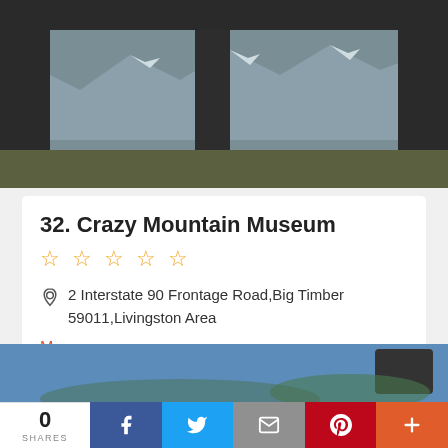[Figure (photo): Outdoor photo viewed through a wooden frame structure showing snow-capped mountains and a valley landscape]
32. Crazy Mountain Museum
☆ ☆ ☆ ☆ ☆
2 Interstate 90 Frontage Road, Big Timber 59011, Livingston Area
Museums
(406) 932-5126
Website
Map Directions
[Figure (photo): Partial view of another location photo with blue sky]
0 SHARES